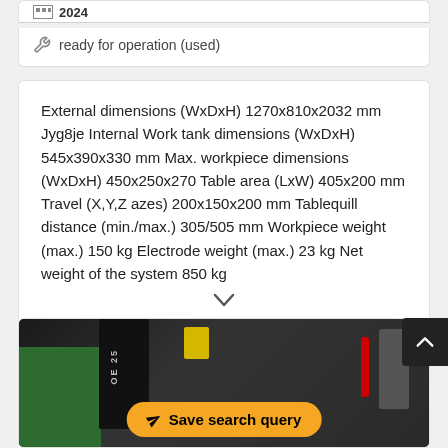ready for operation (used)
External dimensions (WxDxH) 1270x810x2032 mm Jyg8je Internal Work tank dimensions (WxDxH) 545x390x330 mm Max. workpiece dimensions (WxDxH) 450x250x270 Table area (LxW) 405x200 mm Travel (X,Y,Z azes) 200x150x200 mm Tablequill distance (min./max.) 305/505 mm Workpiece weight (max.) 150 kg Electrode weight (max.) 23 kg Net weight of the system 850 kg
[Figure (photo): Industrial machine/equipment photo showing dark machinery with green components, yellow label, and various cables and components]
Save search query